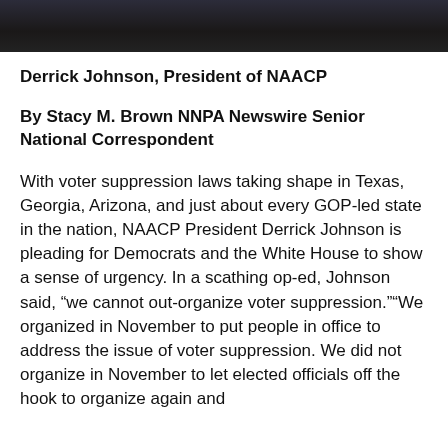[Figure (photo): Dark/black photo strip at top of page showing partial image of a person]
Derrick Johnson, President of NAACP
By Stacy M. Brown NNPA Newswire Senior National Correspondent
With voter suppression laws taking shape in Texas, Georgia, Arizona, and just about every GOP-led state in the nation, NAACP President Derrick Johnson is pleading for Democrats and the White House to show a sense of urgency. In a scathing op-ed, Johnson said, “we cannot out-organize voter suppression.”“We organized in November to put people in office to address the issue of voter suppression. We did not organize in November to let elected officials off the hook to organize again and